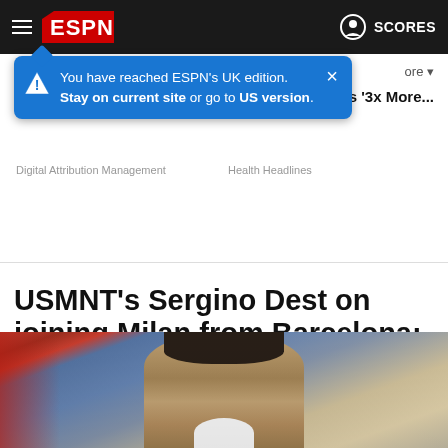ESPN - hamburger menu, ESPN logo, SCORES
You have reached ESPN's UK edition. Stay on current site or go to US version.
ore ▾
y is '3x More...
Digital Attribution Management    Health Headlines
USMNT's Sergino Dest on joining Milan from Barcelona: I need to play before 2022 World Cup
[Figure (photo): Close-up photo of Sergino Dest, a young male soccer player, looking at the camera with a blurred stadium/team background]